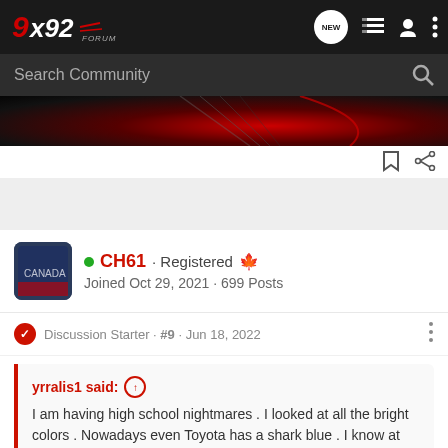992 FORUM - NEW - navigation icons
Search Community
[Figure (photo): Dark car image with red and chrome wheel/body detail visible]
CH61 · Registered [Canada flag] Joined Oct 29, 2021 · 699 Posts
Discussion Starter · #9 · Jun 18, 2022
yrralis1 said: I am having high school nightmares . I looked at all the bright colors . Nowadays even Toyota has a shark blue . I know at the media blitz all wyes were on python with gloss black brakes but I can't deal with